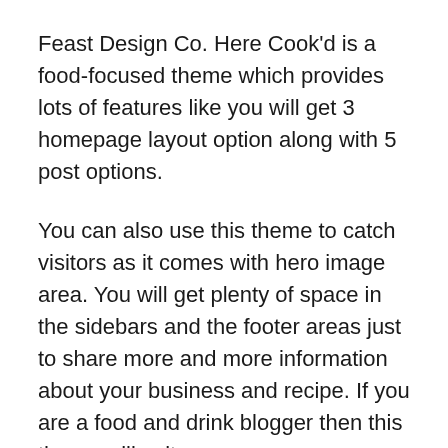Feast Design Co. Here Cook'd is a food-focused theme which provides lots of features like you will get 3 homepage layout option along with 5 post options.
You can also use this theme to catch visitors as it comes with hero image area. You will get plenty of space in the sidebars and the footer areas just to share more and more information about your business and recipe. If you are a food and drink blogger then this theme will suit you.
Price: $129.95